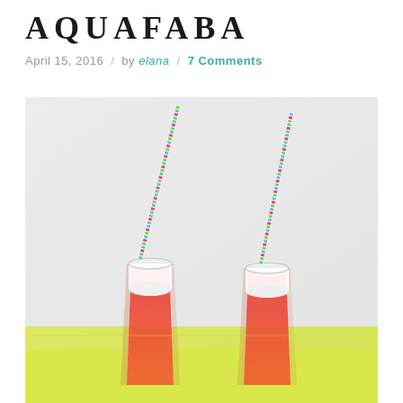AQUAFABA
April 15, 2016  /  by elana  /  7 Comments
[Figure (photo): Two tall glasses filled with a red/orange layered drink topped with white foam and colorful striped straws, placed on a yellow surface against a light gray background.]